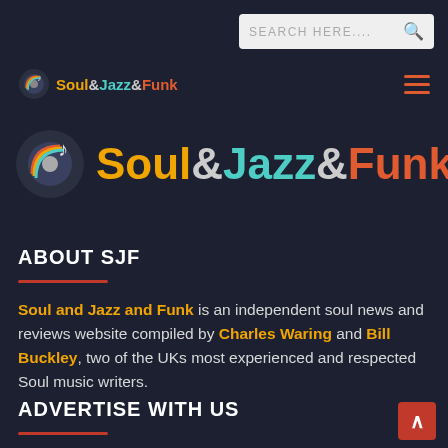[Figure (screenshot): Search bar in top right with placeholder text SEARCH HERE.... and magnifier icon]
[Figure (logo): Soul&Jazz&Funk small navigation logo with music note icon]
[Figure (logo): Soul&Jazz&Funk large logo with decorative vinyl record and music note icon]
ABOUT SJF
Soul and Jazz and Funk is an independent soul news and reviews website compiled by Charles Waring and Bill Buckley, two of the UKs most experienced and respected Soul music writers.
ADVERTISE WITH US